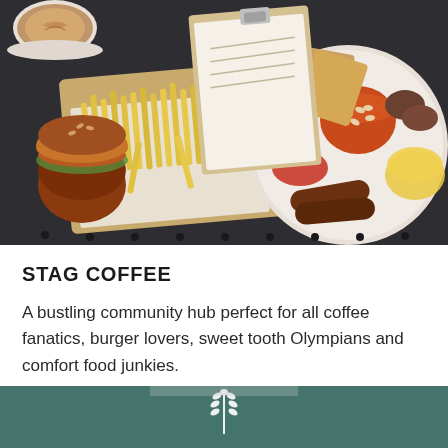[Figure (photo): Overhead view of cafe food: burger, fries on wooden board, full breakfast plate with beans, toast, eggs, sausage, mushrooms, tomatoes, and a latte coffee cup, on a dark table with a clipboard menu]
STAG COFFEE
A bustling community hub perfect for all coffee fanatics, burger lovers, sweet tooth Olympians and comfort food junkies.
[Figure (photo): Person wearing a teal/dark green apron with a white wheat logo emblem]